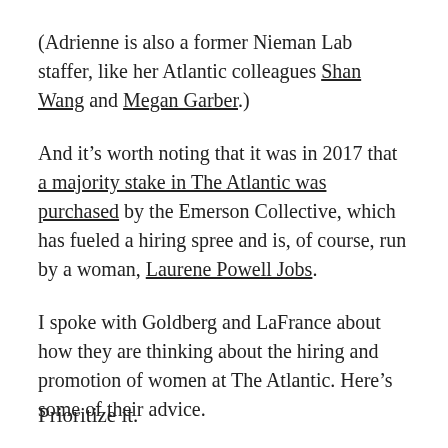(Adrienne is also a former Nieman Lab staffer, like her Atlantic colleagues Shan Wang and Megan Garber.)
And it's worth noting that it was in 2017 that a majority stake in The Atlantic was purchased by the Emerson Collective, which has fueled a hiring spree and is, of course, run by a woman, Laurene Powell Jobs.
I spoke with Goldberg and LaFrance about how they are thinking about the hiring and promotion of women at The Atlantic. Here's some of their advice.
Prioritize it.